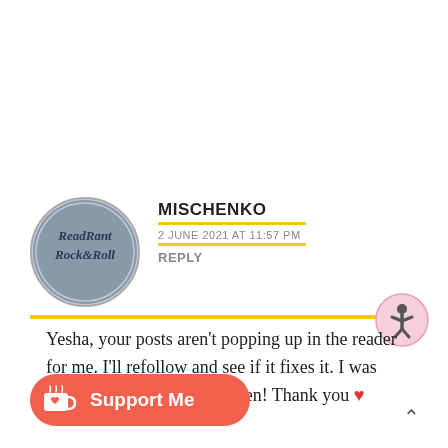[Figure (logo): Read Rant Rock & Roll circular blog logo with dark blue/grey metallic texture]
MISCHENKO
2 JUNE 2021 AT 11:57 PM
REPLY
Yesha, your posts aren't popping up in the reader for me. I'll refollow and see if it fixes it. I was wondering where you've been! Thank you ❤
Loading...
[Figure (illustration): Support Me button with Ko-fi cup logo on coral/red background]